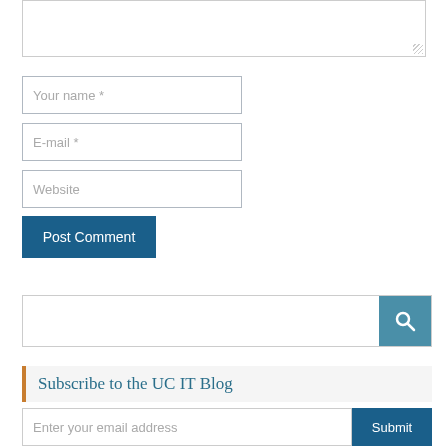[Figure (screenshot): Comment form textarea (partially visible at top), then three input fields: Your name *, E-mail *, Website, followed by a Post Comment button, a search bar with magnifier icon, and a Subscribe to the UC IT Blog section with email input and Submit button.]
Your name *
E-mail *
Website
Post Comment
Subscribe to the UC IT Blog
Enter your email address
Submit